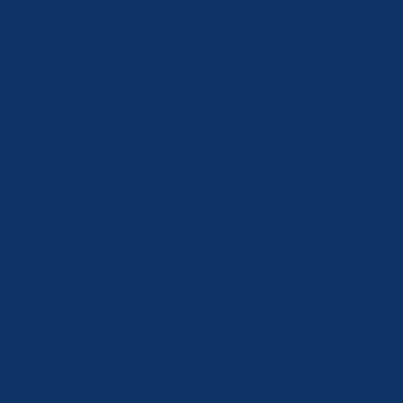earehuggedangerst hatcannot beov e